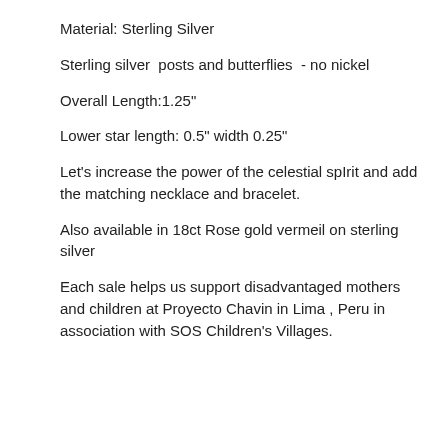Material: Sterling Silver
Sterling silver  posts and butterflies  - no nickel
Overall Length:1.25"
Lower star length: 0.5" width 0.25"
Let's increase the power of the celestial spIrit and add the matching necklace and bracelet.
Also available in 18ct Rose gold vermeil on sterling silver
Each sale helps us support disadvantaged mothers and children at Proyecto Chavin in Lima , Peru in association with SOS Children's Villages.